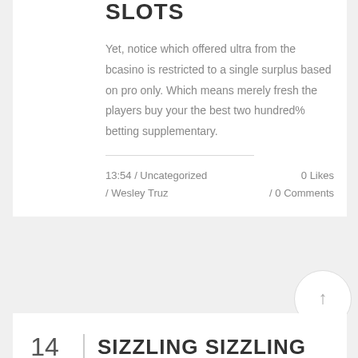SLOTS
Yet, notice which offered ultra from the bcasino is restricted to a single surplus based on pro only. Which means merely fresh the players buy your the best two hundred% betting supplementary.
13:54 / Uncategorized / Wesley Truz
0 Likes / 0 Comments
14 SIZZLING SIZZLING